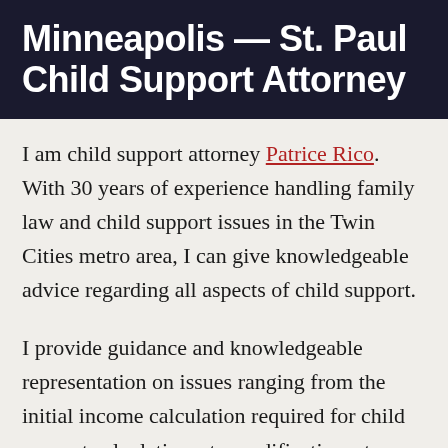Minneapolis — St. Paul Child Support Attorney
I am child support attorney Patrice Rico. With 30 years of experience handling family law and child support issues in the Twin Cities metro area, I can give knowledgeable advice regarding all aspects of child support.
I provide guidance and knowledgeable representation on issues ranging from the initial income calculation required for child support calculations, to modifications, to enforcement and collection strategies that may include child support contempt proceedings for chronic violators.